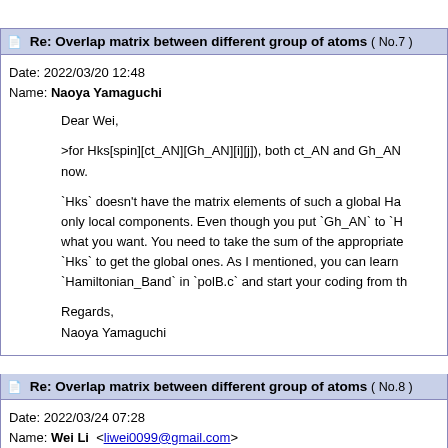Re: Overlap matrix between different group of atoms ( No.7 )
Date: 2022/03/20 12:48
Name: Naoya Yamaguchi
Dear Wei,

>for Hks[spin][ct_AN][Gh_AN][i][j]), both ct_AN and Gh_AN now.

`Hks` doesn't have the matrix elements of such a global Hamiltonian, only local components. Even though you put `Gh_AN` to `H` what you want. You need to take the sum of the appropriate `Hks` to get the global ones. As I mentioned, you can learn `Hamiltonian_Band` in `polB.c` and start your coding from th

Regards,
Naoya Yamaguchi
Re: Overlap matrix between different group of atoms ( No.8 )
Date: 2022/03/24 07:28
Name: Wei Li <liwei0099@gmail.com>